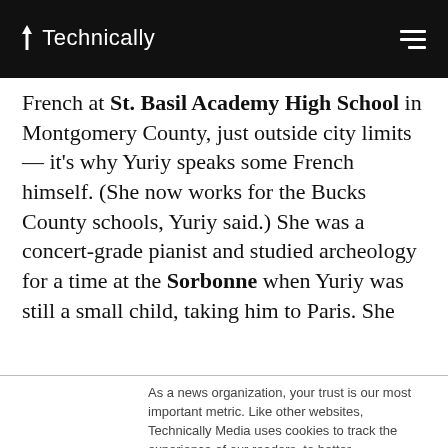Technically
French at St. Basil Academy High School in Montgomery County, just outside city limits — it's why Yuriy speaks some French himself. (She now works for the Bucks County schools, Yuriy said.) She was a concert-grade pianist and studied archeology for a time at the Sorbonne when Yuriy was still a small child, taking him to Paris. She
As a news organization, your trust is our most important metric. Like other websites, Technically Media uses cookies to track the experience of our readers, to better understand usage patterns and content preferences. We will not sell or rent your personal information to third parties. For more information or to contact us, read our entire Ethics & Privacy Policy.
Close